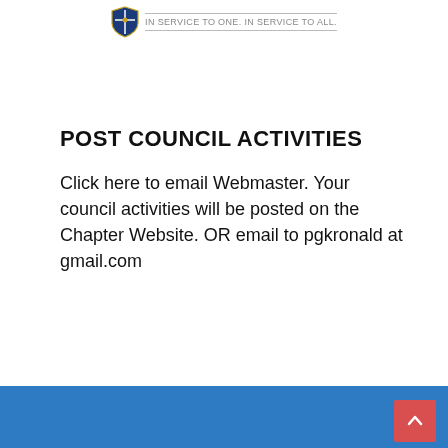[Figure (logo): Organization shield/crest logo with tagline 'In service to One. In service to all.' in grey text]
POST COUNCIL ACTIVITIES
Click here to email Webmaster. Your council activities will be posted on the Chapter Website. OR email to pgkronald at gmail.com